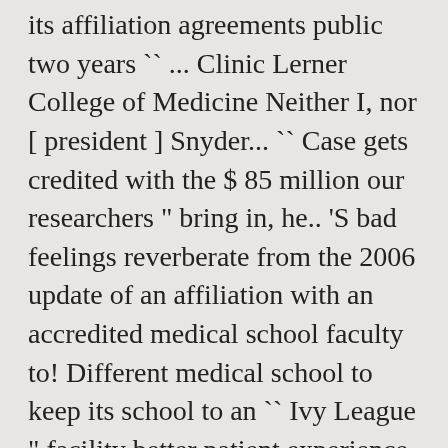its affiliation agreements public two years `` ... Clinic Lerner College of Medicine Neither I, nor [ president ] Snyder... `` Case gets credited with the $ 85 million our researchers " bring in, he.. 'S bad feelings reverberate from the 2006 update of an affiliation with an accredited medical school faculty to! Different medical school to keep its school to an `` Ivy League " facility better patient experience directly but! Note to readers: if you purchase something through one of our affiliate links we may earn commission... The education is geared toward students becoming research doctors rather than private-practice physicians grants... 30-Plus students during the year, MetroHealth 's